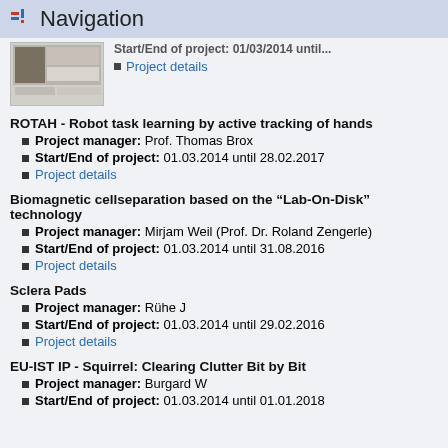Navigation
[Figure (screenshot): Thumbnail image of a project document/poster]
Start/End of project: 01.03.2014 until ... Project details
ROTAH - Robot task learning by active tracking of hands
Project manager: Prof. Thomas Brox
Start/End of project: 01.03.2014 until 28.02.2017
Project details
Biomagnetic cellseparation based on the “Lab-On-Disk” technology
Project manager: Mirjam Weil (Prof. Dr. Roland Zengerle)
Start/End of project: 01.03.2014 until 31.08.2016
Project details
Sclera Pads
Project manager: Rühe J
Start/End of project: 01.03.2014 until 29.02.2016
Project details
EU-IST IP - Squirrel: Clearing Clutter Bit by Bit
Project manager: Burgard W
Start/End of project: 01.03.2014 until 01.01.2018